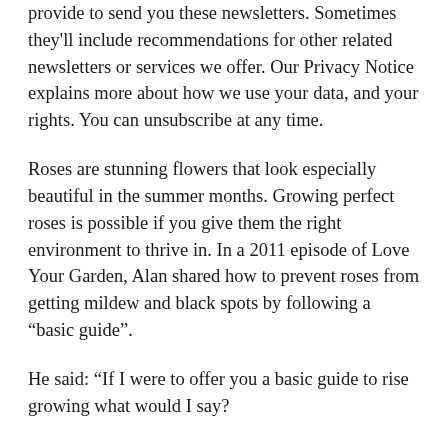provide to send you these newsletters. Sometimes they'll include recommendations for other related newsletters or services we offer. Our Privacy Notice explains more about how we use your data, and your rights. You can unsubscribe at any time.
Roses are stunning flowers that look especially beautiful in the summer months. Growing perfect roses is possible if you give them the right environment to thrive in. In a 2011 episode of Love Your Garden, Alan shared how to prevent roses from getting mildew and black spots by following a “basic guide”.
He said: “If I were to offer you a basic guide to rise growing what would I say?